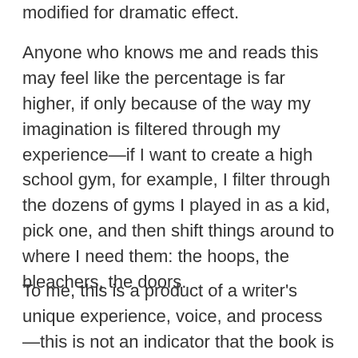modified for dramatic effect.
Anyone who knows me and reads this may feel like the percentage is far higher, if only because of the way my imagination is filtered through my experience—if I want to create a high school gym, for example, I filter through the dozens of gyms I played in as a kid, pick one, and then shift things around to where I need them: the hoops, the bleachers, the doors.
To me, this is a product of a writer's unique experience, voice, and process—this is not an indicator that the book is nonfiction, but it does